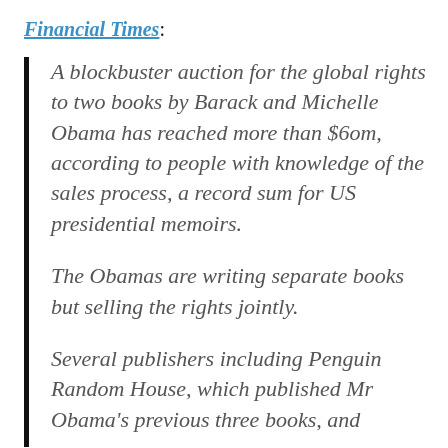Financial Times:
A blockbuster auction for the global rights to two books by Barack and Michelle Obama has reached more than $6om, according to people with knowledge of the sales process, a record sum for US presidential memoirs.
The Obamas are writing separate books but selling the rights jointly.
Several publishers including Penguin Random House, which published Mr Obama's previous three books, and